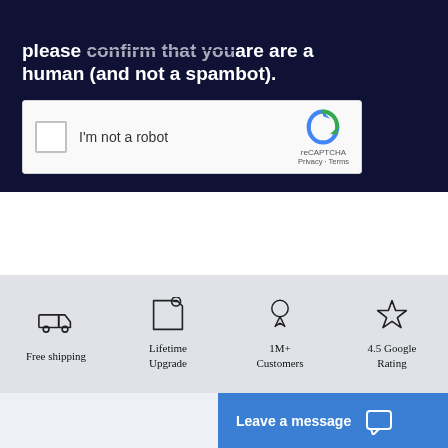please confirm that youare are a human (and not a spambot).
[Figure (screenshot): reCAPTCHA widget with checkbox labeled 'I'm not a robot' and Google reCAPTCHA logo with Privacy and Terms links]
[Figure (infographic): Four feature icons: Free shipping (truck), Lifetime Upgrade (tag), 1M+ Customers (medal/ribbon), 4.5 Google Rating (star)]
Leave a message